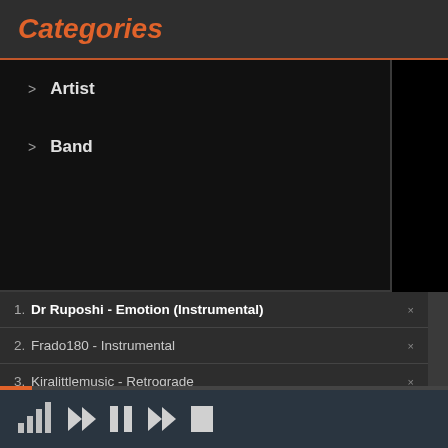Categories
> Artist
> Band
1. Dr Ruposhi - Emotion (Instrumental)
2. Frado180 - Instrumental
3. Kiralittlemusic - Retrograde
4. JungleMico Project - Roaming
5. Dj Kid Loose - Fugazi Flute
6. 2ndVerse - Tradition
[Figure (screenshot): Media player controls bar with signal bars, rewind, pause, fast-forward, and stop icons]